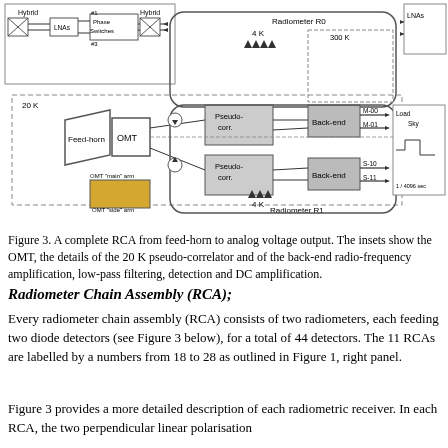[Figure (engineering-diagram): Block diagram of a complete RCA (Radiometer Chain Assembly) showing feed-horn, OMT, two pseudo-correlators at 20K, two back-ends at 300K within Radiometer R0 and R1 blocks, with LNAs, hybrid couplers, phase switches at top-left inset, and timing/load reference at right inset. Temperature zones 4K, 20K, and 300K are labeled. Output channels M-00, M-01, S-10, S-11 are shown.]
Figure 3. A complete RCA from feed-horn to analog voltage output. The insets show the OMT, the details of the 20 K pseudo-correlator and of the back-end radio-frequency amplification, low-pass filtering, detection and DC amplification.
Radiometer Chain Assembly (RCA);
Every radiometer chain assembly (RCA) consists of two radiometers, each feeding two diode detectors (see Figure 3 below), for a total of 44 detectors. The 11 RCAs are labelled by a numbers from 18 to 28 as outlined in Figure 1, right panel.
Figure 3 provides a more detailed description of each radiometric receiver. In each RCA, the two perpendicular linear polarisation